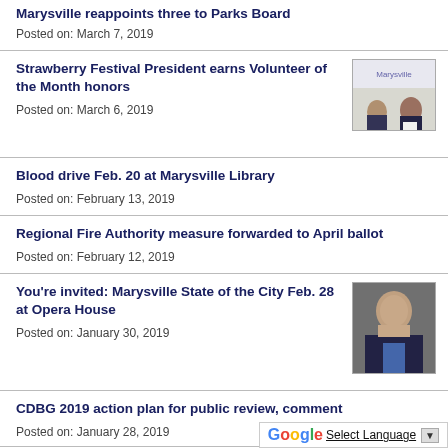Marysville reappoints three to Parks Board
Posted on: March 7, 2019
Strawberry Festival President earns Volunteer of the Month honors
Posted on: March 6, 2019
[Figure (photo): Two people standing in front of a Marysville sign, one holding a plaque]
Blood drive Feb. 20 at Marysville Library
Posted on: February 13, 2019
Regional Fire Authority measure forwarded to April ballot
Posted on: February 12, 2019
You're invited: Marysville State of the City Feb. 28 at Opera House
Posted on: January 30, 2019
[Figure (photo): Headshot of a man in a suit with blue tie]
CDBG 2019 action plan for public review, comment
Posted on: January 28, 2019
Select Language